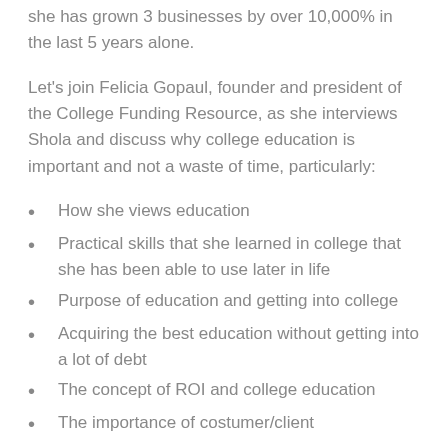she has grown 3 businesses by over 10,000% in the last 5 years alone.
Let's join Felicia Gopaul, founder and president of the College Funding Resource, as she interviews Shola and discuss why college education is important and not a waste of time, particularly:
How she views education
Practical skills that she learned in college that she has been able to use later in life
Purpose of education and getting into college
Acquiring the best education without getting into a lot of debt
The concept of ROI and college education
The importance of costumer/client